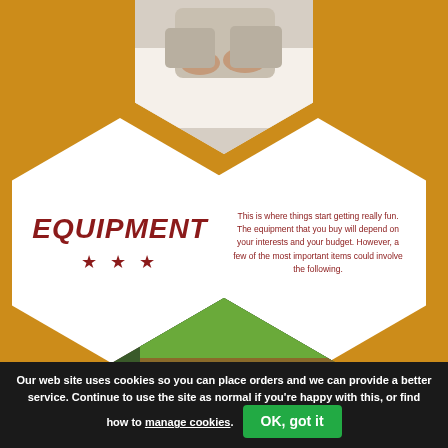[Figure (photo): Hexagonal photo at top center showing person's hands/arms resting on a white surface, partial view]
EQUIPMENT
This is where things start getting really fun. The equipment that you buy will depend on your interests and your budget. However, a few of the most important items could involve the following.
[Figure (photo): Hexagonal photo at bottom center showing a person from behind holding a game controller, playing a racing/driving video game on a large screen]
Our web site uses cookies so you can place orders and we can provide a better service. Continue to use the site as normal if you're happy with this, or find how to manage cookies.